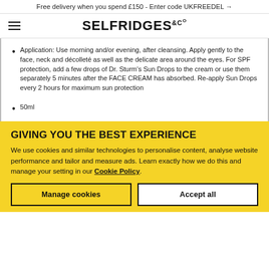Free delivery when you spend £150 - Enter code UKFREEDEL →
[Figure (logo): Selfridges & Co logo with hamburger menu icon]
Application: Use morning and/or evening, after cleansing. Apply gently to the face, neck and décolleté as well as the delicate area around the eyes. For SPF protection, add a few drops of Dr. Sturm's Sun Drops to the cream or use them separately 5 minutes after the FACE CREAM has absorbed. Re-apply Sun Drops every 2 hours for maximum sun protection
50ml
GIVING YOU THE BEST EXPERIENCE
We use cookies and similar technologies to personalise content, analyse website performance and tailor and measure ads. Learn exactly how we do this and manage your setting in our Cookie Policy.
Manage cookies
Accept all